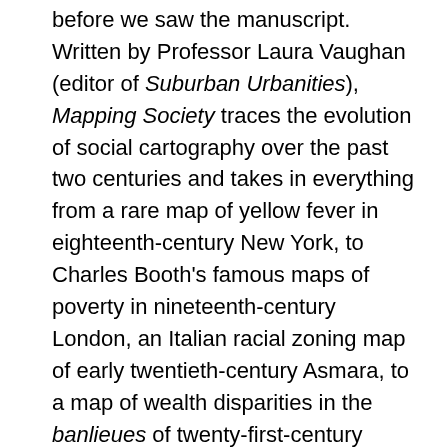before we saw the manuscript. Written by Professor Laura Vaughan (editor of Suburban Urbanities), Mapping Society traces the evolution of social cartography over the past two centuries and takes in everything from a rare map of yellow fever in eighteenth-century New York, to Charles Booth's famous maps of poverty in nineteenth-century London, an Italian racial zoning map of early twentieth-century Asmara, to a map of wealth disparities in the banlieues of twenty-first-century Paris. The author examines maps of ethnic or religious difference, poverty, and health inequalities, demonstrating how they not only serve as historical records of social enquiry, but also constitute inscriptions of social patterns that have been etched deeply on the surface of cities.
The Impact of Migration on Poland asks how